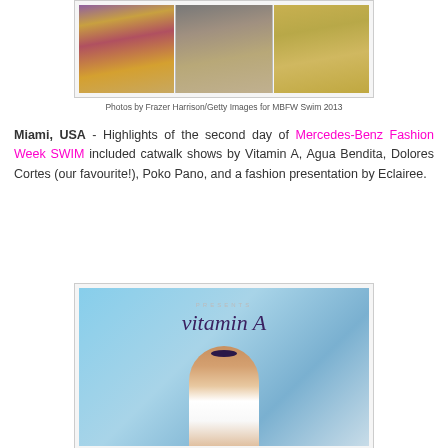[Figure (photo): Three swimwear models showing bikini bottoms from catwalk show, side by side]
Photos by Frazer Harrison/Getty Images for MBFW Swim 2013
Miami, USA - Highlights of the second day of Mercedes-Benz Fashion Week SWIM included catwalk shows by Vitamin A, Agua Bendita, Dolores Cortes (our favourite!), Poko Pano, and a fashion presentation by Eclairee.
[Figure (photo): Model walking runway with vitamin A sign in background at MBFW Swim 2013]